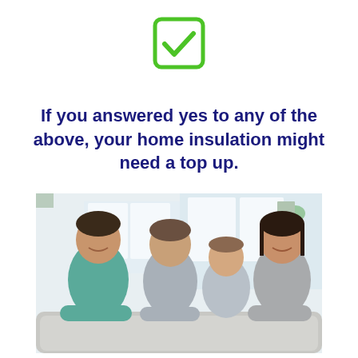[Figure (illustration): Green checkbox icon with checkmark inside a rounded square border]
If you answered yes to any of the above, your home insulation might need a top up.
[Figure (photo): A smiling family of four — father, mother, and two young children — leaning over the back of a grey sofa in a bright living room]